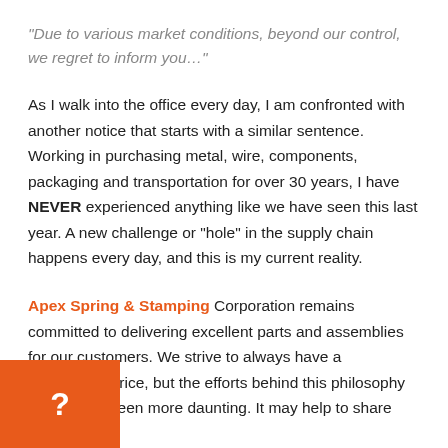“Due to various market conditions, beyond our control, we regret to inform you…”
As I walk into the office every day, I am confronted with another notice that starts with a similar sentence. Working in purchasing metal, wire, components, packaging and transportation for over 30 years, I have NEVER experienced anything like we have seen this last year. A new challenge or “hole” in the supply chain happens every day, and this is my current reality.
Apex Spring & Stamping Corporation remains committed to delivering excellent parts and assemblies for our customers. We strive to always have a competitive price, but the efforts behind this philosophy have never been more daunting. It may help to share about our...